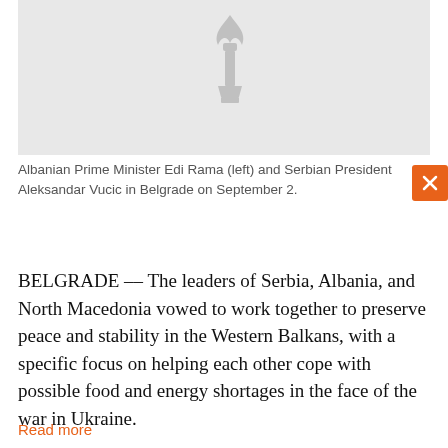[Figure (photo): Placeholder image with a faint torch/liberty icon watermark on a light gray background, representing Albanian Prime Minister Edi Rama and Serbian President Aleksandar Vucic in Belgrade.]
Albanian Prime Minister Edi Rama (left) and Serbian President Aleksandar Vucic in Belgrade on September 2.
BELGRADE –– The leaders of Serbia, Albania, and North Macedonia vowed to work together to preserve peace and stability in the Western Balkans, with a specific focus on helping each other cope with possible food and energy shortages in the face of the war in Ukraine.
Read more